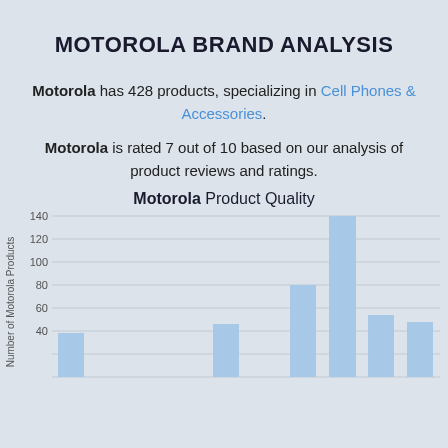MOTOROLA BRAND ANALYSIS
Motorola has 428 products, specializing in Cell Phones & Accessories.
Motorola is rated 7 out of 10 based on our analysis of product reviews and ratings.
[Figure (bar-chart): Motorola Product Quality]